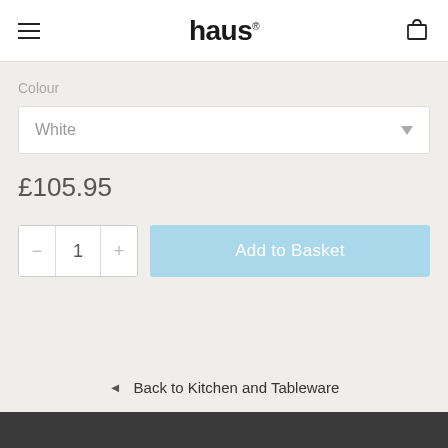haus
Colour
White
£105.95
1
Add to Basket
◄ Back to Kitchen and Tableware